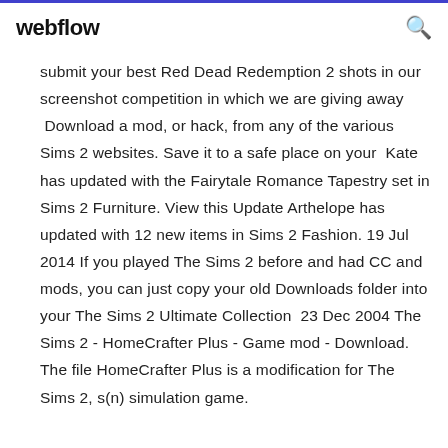webflow
submit your best Red Dead Redemption 2 shots in our screenshot competition in which we are giving away  Download a mod, or hack, from any of the various Sims 2 websites. Save it to a safe place on your  Kate has updated with the Fairytale Romance Tapestry set in Sims 2 Furniture. View this Update Arthelope has updated with 12 new items in Sims 2 Fashion. 19 Jul 2014 If you played The Sims 2 before and had CC and mods, you can just copy your old Downloads folder into your The Sims 2 Ultimate Collection  23 Dec 2004 The Sims 2 - HomeCrafter Plus - Game mod - Download. The file HomeCrafter Plus is a modification for The Sims 2, s(n) simulation game.